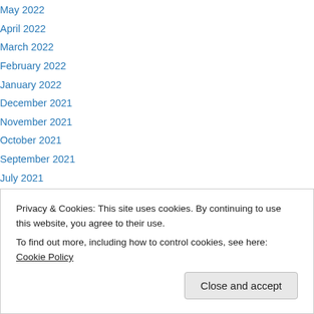May 2022
April 2022
March 2022
February 2022
January 2022
December 2021
November 2021
October 2021
September 2021
July 2021
January 2021
December 2020
November 2020
Privacy & Cookies: This site uses cookies. By continuing to use this website, you agree to their use. To find out more, including how to control cookies, see here: Cookie Policy
April 2020